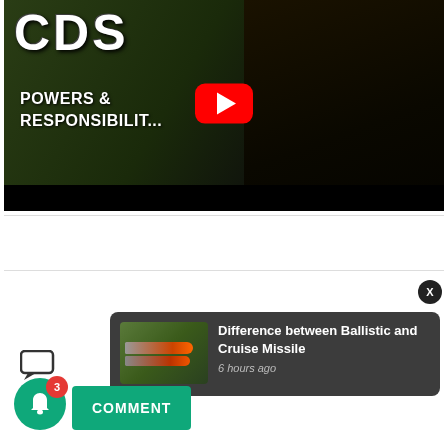[Figure (screenshot): YouTube video thumbnail showing a military officer in uniform with text 'CDS POWERS & RESPONSIBILITIES' and a red YouTube play button overlay]
[Figure (screenshot): Push notification card showing 'Difference between Ballistic and Cruise Missile' posted 6 hours ago, with thumbnail of missiles on a vehicle]
Difference between Ballistic and Cruise Missile
6 hours ago
X
COMMENT